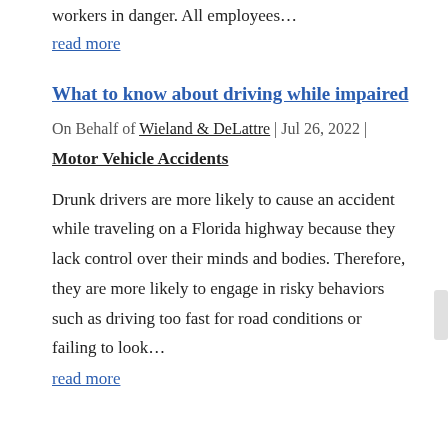their hazards that could place experienced workers in danger. All employees…
read more
What to know about driving while impaired
On Behalf of Wieland & DeLattre | Jul 26, 2022 |
Motor Vehicle Accidents
Drunk drivers are more likely to cause an accident while traveling on a Florida highway because they lack control over their minds and bodies. Therefore, they are more likely to engage in risky behaviors such as driving too fast for road conditions or failing to look…
read more